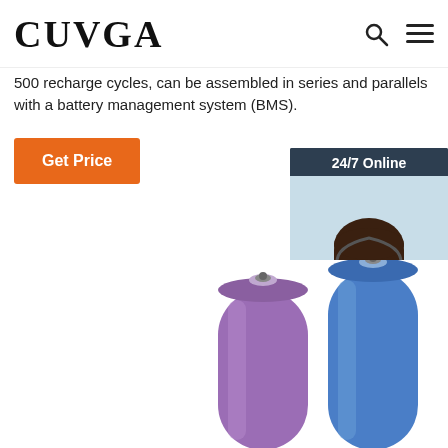CUVGA
500 recharge cycles, can be assembled in series and parallels with a battery management system (BMS).
Get Price
[Figure (infographic): 24/7 Online chat widget with a photo of a female customer service representative wearing a headset and smiling, with 'Click here for free chat!' text and a QUOTATION button]
[Figure (photo): Two cylindrical rechargeable batteries — one purple and one blue — photographed from the side, cropped showing the upper portions]